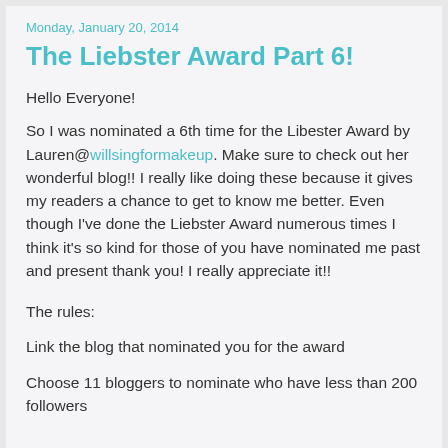Monday, January 20, 2014
The Liebster Award Part 6!
Hello Everyone!
So I was nominated a 6th time for the Libester Award by Lauren@willsingformakeup. Make sure to check out her wonderful blog!! I really like doing these because it gives my readers a chance to get to know me better. Even though I've done the Liebster Award numerous times I think it's so kind for those of you have nominated me past and present thank you! I really appreciate it!!
The rules:
Link the blog that nominated you for the award
Choose 11 bloggers to nominate who have less than 200 followers